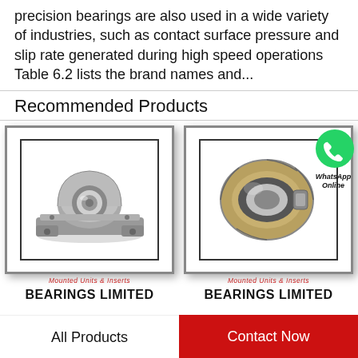precision bearings are also used in a wide variety of industries, such as contact surface pressure and slip rate generated during high speed operations Table 6.2 lists the brand names and...
Recommended Products
[Figure (photo): Pillow block bearing unit - mounted unit and insert bearing product by Bearings Limited]
Mounted Units & Inserts
BEARINGS LIMITED
[Figure (photo): Cylindrical roller bearing ring product by Bearings Limited with WhatsApp Online overlay]
Mounted Units & Inserts
BEARINGS LIMITED
All Products
Contact Now